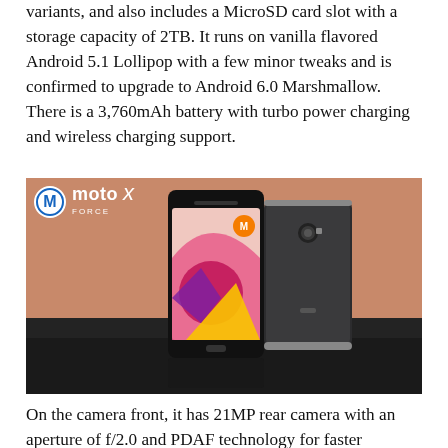variants, and also includes a MicroSD card slot with a storage capacity of 2TB. It runs on vanilla flavored Android 5.1 Lollipop with a few minor tweaks and is confirmed to upgrade to Android 6.0 Marshmallow. There is a 3,760mAh battery with turbo power charging and wireless charging support.
[Figure (photo): Moto X Force product photo showing two smartphones — one facing front displaying colorful geometric wallpaper, and one facing back showing the textured rear, both standing upright on a dark reflective surface against a warm copper/tan background. The Moto X Force logo and Motorola logo are visible in the upper left.]
On the camera front, it has 21MP rear camera with an aperture of f/2.0 and PDAF technology for faster